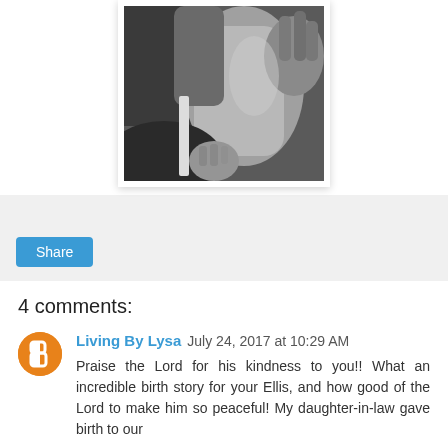[Figure (photo): Black and white photograph of a newborn baby being held, close-up view showing the baby's body and hands of an adult holding them]
Share
4 comments:
Living By Lysa July 24, 2017 at 10:29 AM
Praise the Lord for his kindness to you!! What an incredible birth story for your Ellis, and how good of the Lord to make him so peaceful! My daughter-in-law gave birth to our